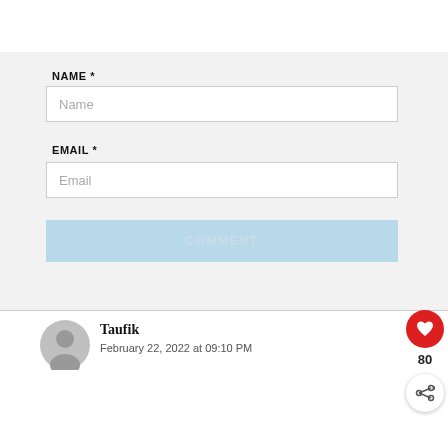NAME *
[Figure (other): Name text input field with placeholder 'Name']
EMAIL *
[Figure (other): Email text input field with placeholder 'Email']
[Figure (other): COMMENT submit button in light blue]
[Figure (other): User avatar (grey circle silhouette) for commenter Taufik]
Taufik
February 22, 2022 at 09:10 PM
[Figure (other): Red circular heart/like button with count 80 below it, and a share button below that]